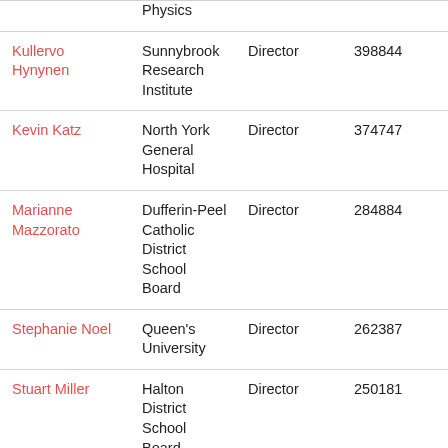| Name | Organization | Role | Number |
| --- | --- | --- | --- |
| Physics (partial) |  |  |  |
| Kullervo Hynynen | Sunnybrook Research Institute | Director | 398844 |
| Kevin Katz | North York General Hospital | Director | 374747 |
| Marianne Mazzorato | Dufferin-Peel Catholic District School Board | Director | 284884 |
| Stephanie Noel | Queen's University | Director | 262387 |
| Stuart Miller | Halton District School Board | Director | 250181 |
| Rodney Engeland | Sunnybrook Research Institute | Director | 247487 |
| Manny Figueiredo | Hamilton-Wentworth District School Board | Director | 245417 |
| Susan Orlando | Attorney General | Director | 227625 |